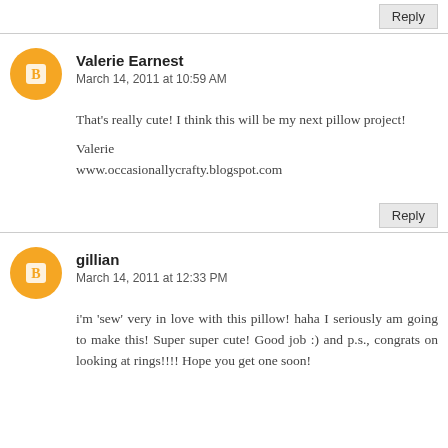Reply
Valerie Earnest
March 14, 2011 at 10:59 AM
That's really cute! I think this will be my next pillow project!
Valerie
www.occasionallycrafty.blogspot.com
Reply
gillian
March 14, 2011 at 12:33 PM
i'm 'sew' very in love with this pillow! haha I seriously am going to make this! Super super cute! Good job :) and p.s., congrats on looking at rings!!!! Hope you get one soon!